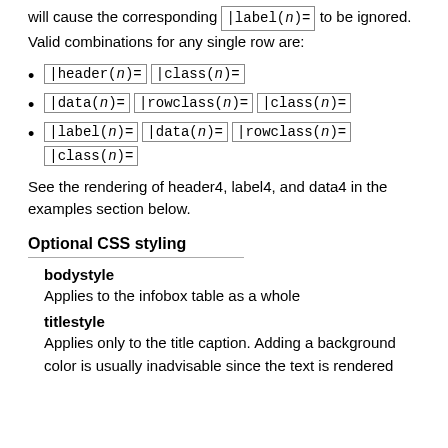will cause the corresponding |label(n)= to be ignored. Valid combinations for any single row are:
|header(n)=  |class(n)=
|data(n)=  |rowclass(n)=  |class(n)=
|label(n)=  |data(n)=  |rowclass(n)=  |class(n)=
See the rendering of header4, label4, and data4 in the examples section below.
Optional CSS styling
bodystyle
Applies to the infobox table as a whole
titlestyle
Applies only to the title caption. Adding a background color is usually inadvisable since the text is rendered